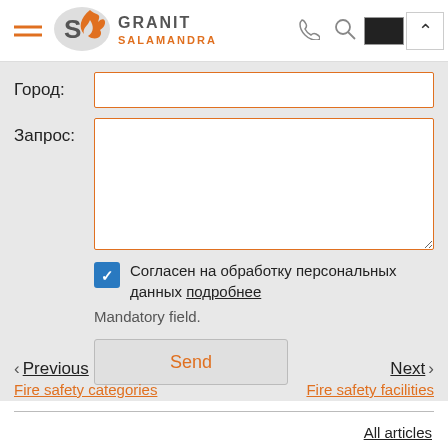[Figure (logo): Granit Salamandra logo with orange flame and grey S letter]
Город:
Запрос:
Согласен на обработку персональных данных подробнее
Mandatory field.
Send
Previous
Fire safety categories
Next
Fire safety facilities
All articles